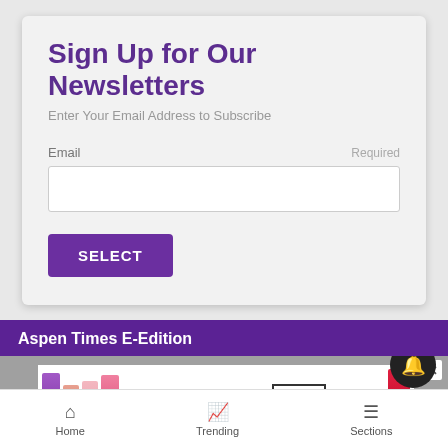Sign Up for Our Newsletters
Enter Your Email Address to Subscribe
Email
Required
SELECT
Aspen Times E-Edition
[Figure (photo): MAC cosmetics ad banner showing lipsticks in purple, pink, red colors with MAC logo and SHOP NOW box]
Home  Trending  Sections